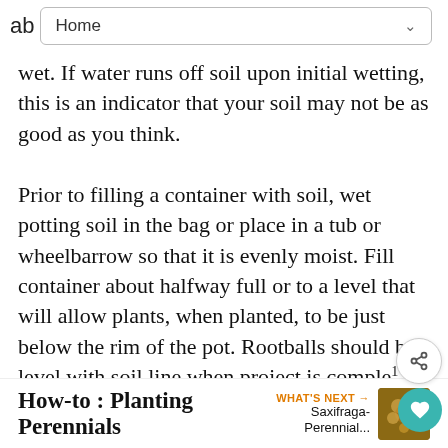ab  Home
wet. If water runs off soil upon initial wetting, this is an indicator that your soil may not be as good as you think.
Prior to filling a container with soil, wet potting soil in the bag or place in a tub or wheelbarrow so that it is evenly moist. Fill container about halfway full or to a level that will allow plants, when planted, to be just below the rim of the pot. Rootballs should be level with soil line when project is completed. Water well.
How-to : Planting Perennials